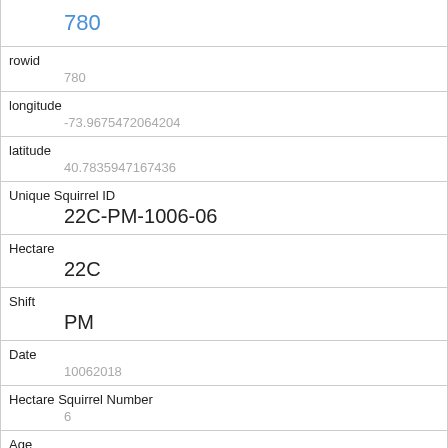| Field | Value |
| --- | --- |
|  | 780 |
| rowid | 780 |
| longitude | -73.9675472064204 |
| latitude | 40.7835947167436 |
| Unique Squirrel ID | 22C-PM-1006-06 |
| Hectare | 22C |
| Shift | PM |
| Date | 10062018 |
| Hectare Squirrel Number | 6 |
| Age | Juvenile |
| Primary Fur Color |  |